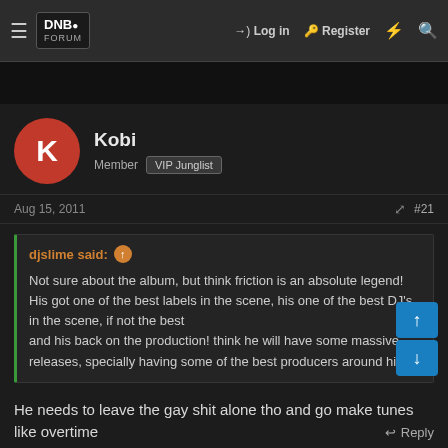DNB Forum — Log in  Register
Kobi
Member  VIP Junglist
Aug 15, 2011  #21
djslime said:
Not sure about the album, but think friction is an absolute legend! His got one of the best labels in the scene, his one of the best DJ's in the scene, if not the best and his back on the production! think he will have some massive releases, specially having some of the best producers around him!
He needs to leave the gay shit alone tho and go make tunes like overtime